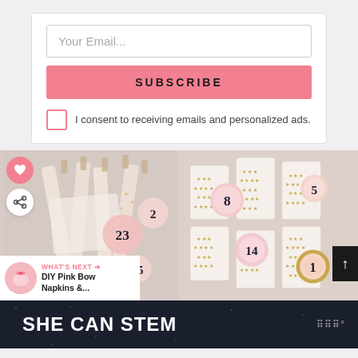Your Email...
SUBSCRIBE
I consent to receiving emails and personalized ads.
[Figure (photo): Two craft/DIY photos side by side showing advent calendar items with numbered circles (23, 2, 15, 5) and decorative paper bags with star patterns and numbered circles (8, 14, 5, 1). Pink and gold color scheme.]
WHAT'S NEXT →
DIY Pink Bow
Napkins &...
SHE CAN STEM